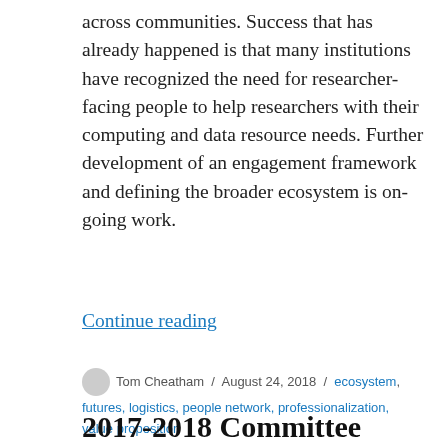across communities. Success that has already happened is that many institutions have recognized the need for researcher-facing people to help researchers with their computing and data resource needs. Further development of an engagement framework and defining the broader ecosystem is on-going work.
Continue reading
Tom Cheatham / August 24, 2018 / ecosystem, futures, logistics, people network, professionalization, value proposition
2017-2018 Committee